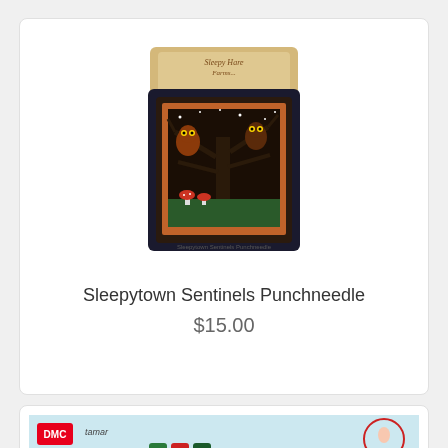[Figure (photo): Framed punchneedle embroidery artwork showing owls on bare tree branches with mushrooms, in a dark wooden frame, with a product packaging card showing 'Sleepytown Sentinels Punchneedle' branding]
Sleepytown Sentinels Punchneedle
$15.00
[Figure (photo): DMC x Tamar branding embroidery kit packaging showing 'Embroidery Kit - Spring Girl' with thread skeins and fabric, light blue background with illustrated girl design in red circle]